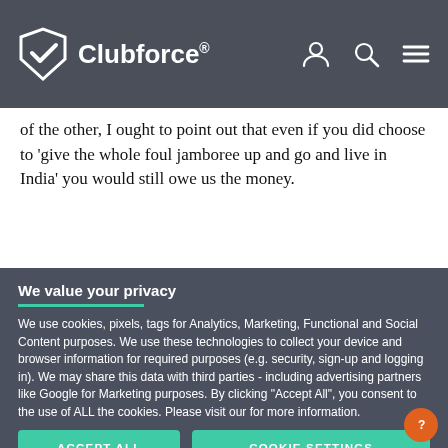Clubforce®
of the other, I ought to point out that even if you did choose to 'give the whole foul jamboree up and go and live in India' you would still owe us the money.
We value your privacy
We use cookies, pixels, tags for Analytics, Marketing, Functional and Social Content purposes. We use these technologies to collect your device and browser information for required purposes (e.g. security, sign-up and logging in). We may share this data with third parties - including advertising partners like Google for Marketing purposes. By clicking "Accept All", you consent to the use of ALL the cookies. Please visit our for more information.
ACCEPT ALL
COOKIE SETTINGS